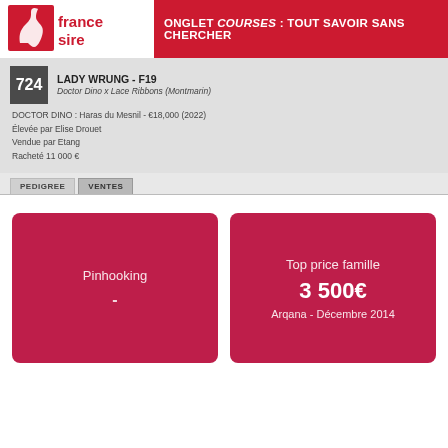[Figure (logo): France Sire logo with red horse icon and text 'france sire']
ONGLET COURSES : TOUT SAVOIR SANS CHERCHER
724  LADY WRUNG - F19
Doctor Dino x Lace Ribbons (Montmarin)
DOCTOR DINO : Haras du Mesnil - €18,000 (2022)
Élevée par Elise Drouet
Vendue par Etang
Racheté 11 000 €
PEDIGREE  VENTES
Pinhooking
-
Top price famille
3 500€
Arqana - Décembre 2014